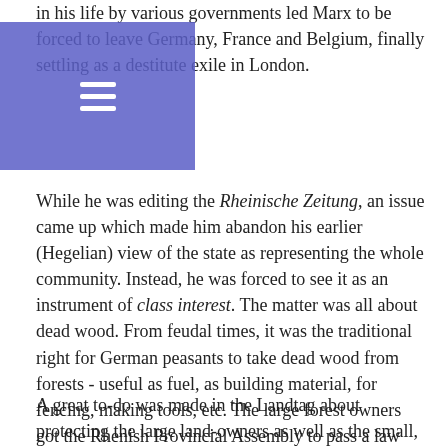(p...) ...in his life by various governments led Marx to be forced to leave Germany, France and Belgium, finally settling as a destitute exile in London.
While he was editing the Rheinische Zeitung, an issue came up which made him abandon his earlier (Hegelian) view of the state as representing the whole community. Instead, he was forced to see it as an instrument of class interest. The matter was all about dead wood. From feudal times, it was the traditional right for German peasants to take dead wood from forests - useful as fuel, as building material, for fencing, making tools, etc. The large forest owners got the Rhenish Provincial Assembly to pass a law making it illegal to take dead wood from any forests.
A great to-do was made in the Landtag about protecting the large land-owners as well as the small, since, as citizens of the community, they were both entitled to ...